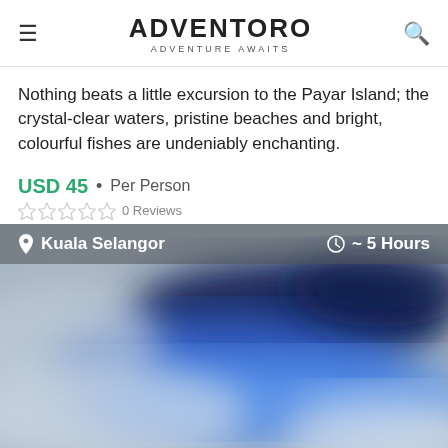ADVENTORO
ADVENTURE AWAITS
Nothing beats a little excursion to the Payar Island; the crystal-clear waters, pristine beaches and bright, colourful fishes are undeniably enchanting.
USD 45 • Per Person
0 Reviews
[Figure (map): Blurred map image showing Kuala Selangor location with info bar showing location and duration]
Kuala Selangor ~ 5 Hours